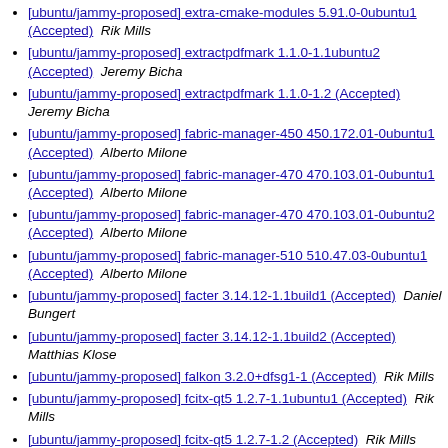[ubuntu/jammy-proposed] extra-cmake-modules 5.91.0-0ubuntu1 (Accepted)  Rik Mills
[ubuntu/jammy-proposed] extractpdfmark 1.1.0-1.1ubuntu2 (Accepted)  Jeremy Bicha
[ubuntu/jammy-proposed] extractpdfmark 1.1.0-1.2 (Accepted)  Jeremy Bicha
[ubuntu/jammy-proposed] fabric-manager-450 450.172.01-0ubuntu1 (Accepted)  Alberto Milone
[ubuntu/jammy-proposed] fabric-manager-470 470.103.01-0ubuntu1 (Accepted)  Alberto Milone
[ubuntu/jammy-proposed] fabric-manager-470 470.103.01-0ubuntu2 (Accepted)  Alberto Milone
[ubuntu/jammy-proposed] fabric-manager-510 510.47.03-0ubuntu1 (Accepted)  Alberto Milone
[ubuntu/jammy-proposed] facter 3.14.12-1.1build1 (Accepted)  Daniel Bungert
[ubuntu/jammy-proposed] facter 3.14.12-1.1build2 (Accepted)  Matthias Klose
[ubuntu/jammy-proposed] falkon 3.2.0+dfsg1-1 (Accepted)  Rik Mills
[ubuntu/jammy-proposed] fcitx-qt5 1.2.7-1.1ubuntu1 (Accepted)  Rik Mills
[ubuntu/jammy-proposed] fcitx-qt5 1.2.7-1.2 (Accepted)  Rik Mills
[ubuntu/jammy-proposed] feersum 1.410-1ubuntu2